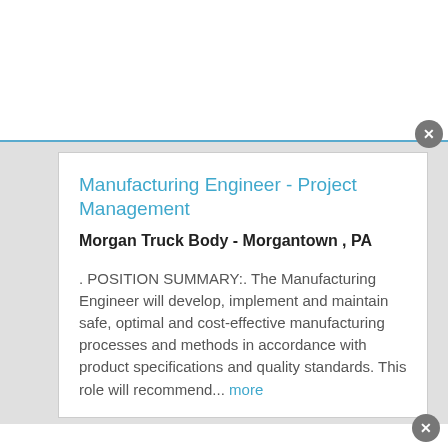Manufacturing Engineer - Project Management
Morgan Truck Body - Morgantown , PA
. POSITION SUMMARY:. The Manufacturing Engineer will develop, implement and maintain safe, optimal and cost-effective manufacturing processes and methods in accordance with product specifications and quality standards. This role will recommend... more
This site uses cookies and other similar technologies to provide site functionality, analyze traffic and usage, and